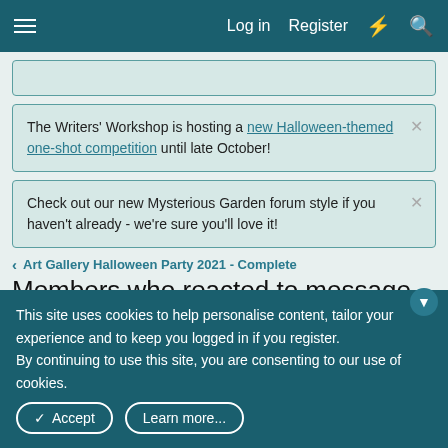Log in  Register
The Writers' Workshop is hosting a new Halloween-themed one-shot competition until late October!
Check out our new Mysterious Garden forum style if you haven't already - we're sure you'll love it!
Art Gallery Halloween Party 2021 - Complete
Members who reacted to message #26
Love (3)  Like (1)
This site uses cookies to help personalise content, tailor your experience and to keep you logged in if you register.
By continuing to use this site, you are consenting to our use of cookies.
Accept  Learn more...